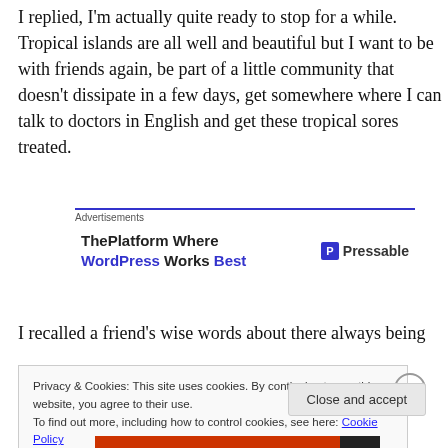I replied, I'm actually quite ready to stop for a while. Tropical islands are all well and beautiful but I want to be with friends again, be part of a little community that doesn't dissipate in a few days, get somewhere where I can talk to doctors in English and get these tropical sores treated.
[Figure (other): Advertisement box for Pressable - 'ThePlatform Where WordPress Works Best']
I recalled a friend's wise words about there always being
Privacy & Cookies: This site uses cookies. By continuing to use this website, you agree to their use.
To find out more, including how to control cookies, see here: Cookie Policy